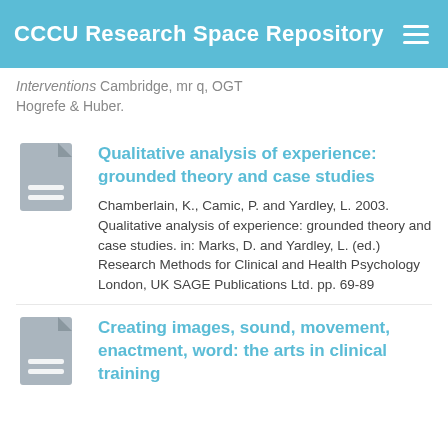CCCU Research Space Repository
Interventions Cambridge, mr q, OGT Hogrefe & Huber.
Qualitative analysis of experience: grounded theory and case studies
Chamberlain, K., Camic, P. and Yardley, L. 2003. Qualitative analysis of experience: grounded theory and case studies. in: Marks, D. and Yardley, L. (ed.) Research Methods for Clinical and Health Psychology London, UK SAGE Publications Ltd. pp. 69-89
Creating images, sound, movement, enactment, word: the arts in clinical training